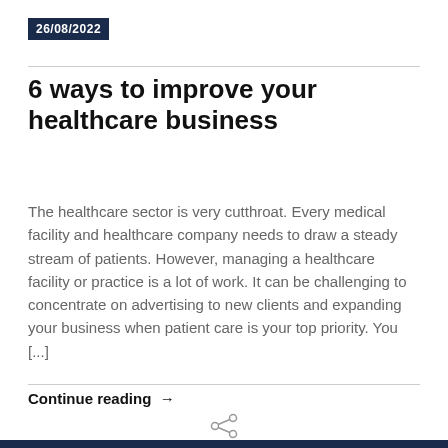26/08/2022
6 ways to improve your healthcare business
The healthcare sector is very cutthroat. Every medical facility and healthcare company needs to draw a steady stream of patients. However, managing a healthcare facility or practice is a lot of work. It can be challenging to concentrate on advertising to new clients and expanding your business when patient care is your top priority. You [...]
Continue reading →